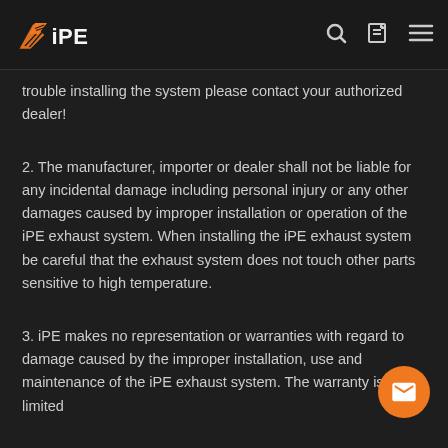iPE [logo with nav icons]
trouble installing the system please contact your authorized dealer!
2. The manufacturer, importer or dealer shall not be liable for any incidental damage including personal injury or any other damages caused by improper installation or operation of the iPE exhaust system. When installing the iPE exhaust system be careful that the exhaust system does not touch other parts sensitive to high temperature.
3. iPE makes no representation or warranties with regard to damage caused by the improper installation, use and maintenance of the iPE exhaust system. The warranty is limited